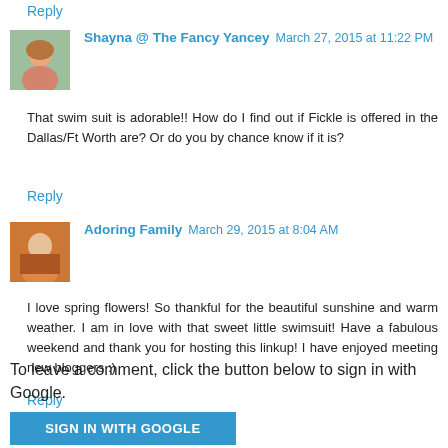Reply
Shayna @ The Fancy Yancey March 27, 2015 at 11:22 PM
That swim suit is adorable!! How do I find out if Fickle is offered in the Dallas/Ft Worth are? Or do you by chance know if it is?
Reply
Adoring Family March 29, 2015 at 8:04 AM
I love spring flowers! So thankful for the beautiful sunshine and warm weather. I am in love with that sweet little swimsuit! Have a fabulous weekend and thank you for hosting this linkup! I have enjoyed meeting new bloggers :)
Reply
To leave a comment, click the button below to sign in with Google.
SIGN IN WITH GOOGLE